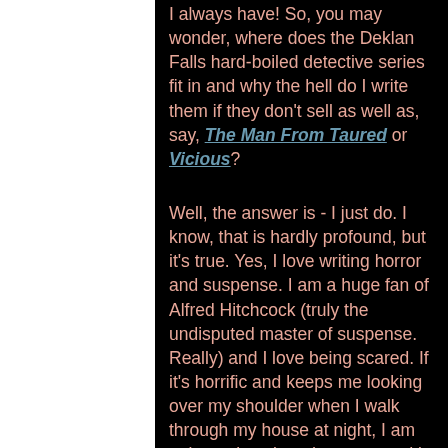I always have! So, you may wonder, where does the Deklan Falls hard-boiled detective series fit in and why the hell do I write them if they don't sell as well as, say, The Man From Taured or Vicious?
Well, the answer is - I just do. I know, that is hardly profound, but it's true. Yes, I love writing horror and suspense. I am a huge fan of Alfred Hitchcock (truly the undisputed master of suspense. Really) and I love being scared. If it's horrific and keeps me looking over my shoulder when I walk through my house at night, I am going to love it and recommend it to others. I love writing that stuff, too, but I am also a fan of a good detective novel.